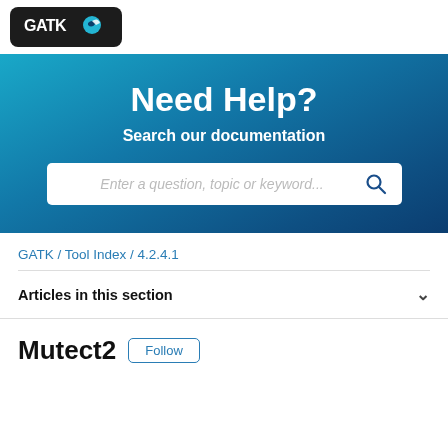[Figure (logo): GATK logo on dark background with blue bird/arrow icon]
Need Help?
Search our documentation
Enter a question, topic or keyword...
GATK / Tool Index / 4.2.4.1
Articles in this section
Mutect2
Follow